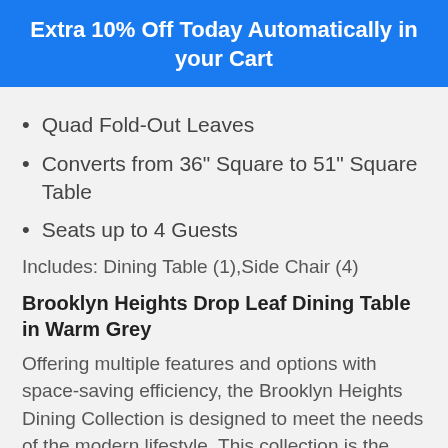Extra 10% Off Today Automatically in your Cart
Quad Fold-Out Leaves
Converts from 36" Square to 51" Square Table
Seats up to 4 Guests
Includes: Dining Table (1),Side Chair (4)
Brooklyn Heights Drop Leaf Dining Table in Warm Grey
Offering multiple features and options with space-saving efficiency, the Brooklyn Heights Dining Collection is designed to meet the needs of the modern lifestyle. This collection is the perfect solution for anyone with space constraints but who appreciates the value of solid wood furniture. The Brooklyn Heights Dining Collection is constructed with Solid Rubberwood and complemented with a 12-step Warm grey finish that gives a clean, uniform appearance without hiding the beauty of the wood. ...